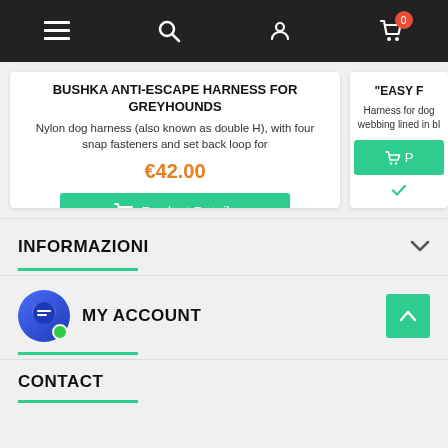[Figure (screenshot): E-commerce website navigation bar with hamburger menu, search, user account, and shopping cart icons on dark background. Cart shows badge with 0.]
[Figure (photo): Orange nylon dog harness product image (partial, cut off at top)]
BUSHKA ANTI-ESCAPE HARNESS FOR GREYHOUNDS
Nylon dog harness (also known as double H), with four snap fasteners and set back loop for
€42.00
Product Details
In stock
[Figure (photo): Blue nylon dog harness/strap product image (partially visible, cut off on right side)]
"EASY F
Harness for dog webbing lined in bl
INFORMAZIONI
MY ACCOUNT
CONTACT